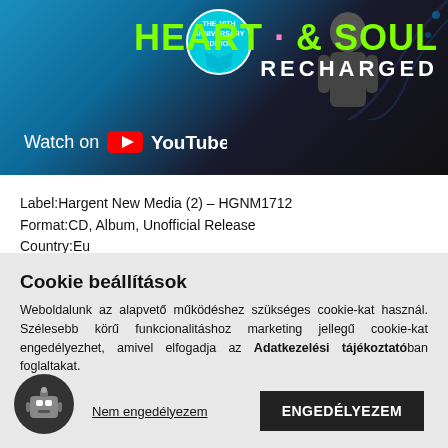[Figure (screenshot): YouTube thumbnail showing 'HEART & SOUL RECHARGED' album with 10th Anniversary Edition badge and 'Watch on YouTube' text]
Label:Hargent New Media (2) – HGNM1712
Format:CD, Album, Unofficial Release
Country:Eu
Released:2019
Genre:Electronic
Style:Euro-Disco
Bővebben >
Cookie beállítások
Weboldalunk az alapvető működéshez szükséges cookie-kat használ. Szélesebb körű funkcionalitáshoz marketing jellegű cookie-kat engedélyezhet, amivel elfogadja az Adatkezelési tájékoztatóban foglaltakat.
Nem engedélyezem | ENGEDÉLYEZEM